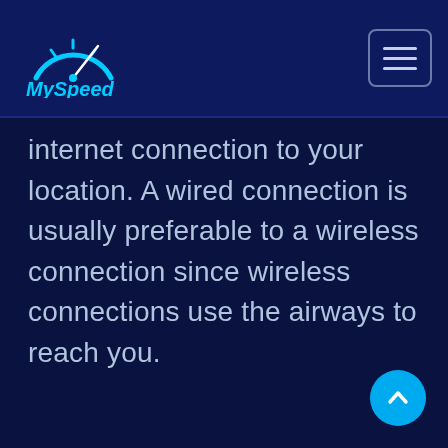MySpeed
internet connection to your location. A wired connection is usually preferable to a wireless connection since wireless connections use the airways to reach you.